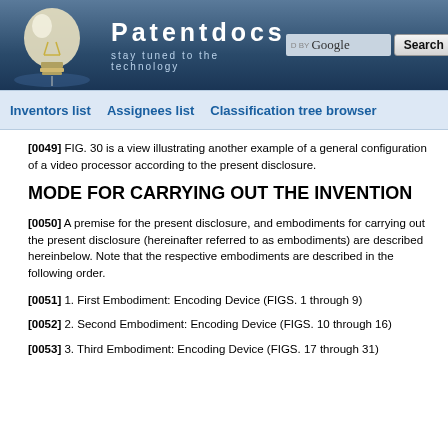Patentdocs — stay tuned to the technology
Inventors list | Assignees list | Classification tree browser
[0049] FIG. 30 is a view illustrating another example of a general configuration of a video processor according to the present disclosure.
MODE FOR CARRYING OUT THE INVENTION
[0050] A premise for the present disclosure, and embodiments for carrying out the present disclosure (hereinafter referred to as embodiments) are described hereinbelow. Note that the respective embodiments are described in the following order.
[0051] 1. First Embodiment: Encoding Device (FIGS. 1 through 9)
[0052] 2. Second Embodiment: Encoding Device (FIGS. 10 through 16)
[0053] 3. Third Embodiment: Encoding Device (FIGS. 17 through 31)